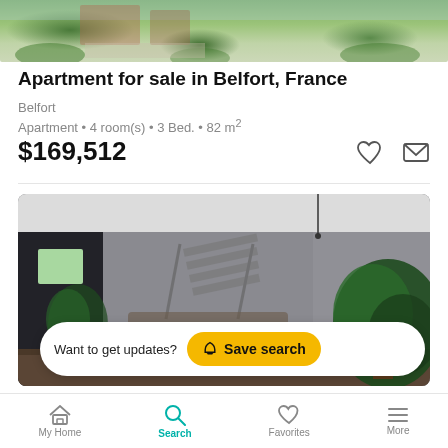[Figure (photo): Exterior photo of apartment building with garden]
Apartment for sale in Belfort, France
Belfort
Apartment • 4 room(s) • 3 Bed. • 82 m²
$169,512
[Figure (photo): Interior photo of duplex apartment living room with stairs and plants]
Want to get updates?  Save search
Secteur MIOTTE Appartement Duplex avec jardin priv
My Home  Search  Favorites  More